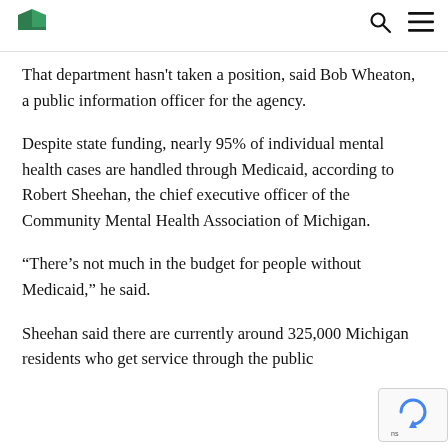[Logo] [Search icon] [Menu icon]
That department hasn't taken a position, said Bob Wheaton, a public information officer for the agency.
Despite state funding, nearly 95% of individual mental health cases are handled through Medicaid, according to Robert Sheehan, the chief executive officer of the Community Mental Health Association of Michigan.
“There’s not much in the budget for people without Medicaid,” he said.
Sheehan said there are currently around 325,000 Michigan residents who get service through the public